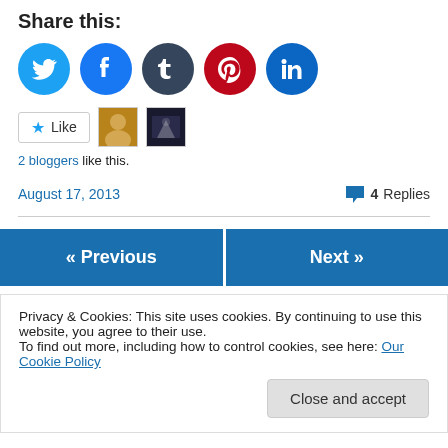Share this:
[Figure (infographic): Row of social media share buttons: Twitter (blue), Facebook (blue), Tumblr (dark), Pinterest (red), LinkedIn (teal), all circular icons]
[Figure (infographic): Like button with star icon and two blogger avatars (yellow portrait, dark nighttime photo)]
2 bloggers like this.
August 17, 2013
4 Replies
« Previous
Next »
Privacy & Cookies: This site uses cookies. By continuing to use this website, you agree to their use.
To find out more, including how to control cookies, see here: Our Cookie Policy
Close and accept